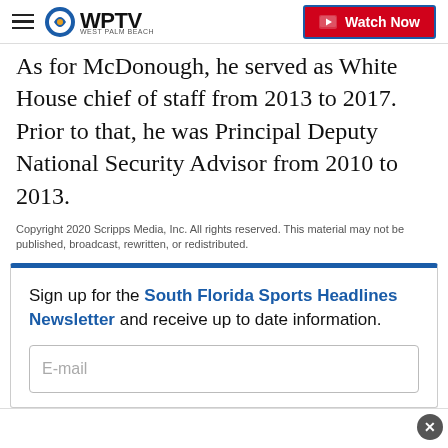WPTV - Watch Now
As for McDonough, he served as White House chief of staff from 2013 to 2017. Prior to that, he was Principal Deputy National Security Advisor from 2010 to 2013.
Copyright 2020 Scripps Media, Inc. All rights reserved. This material may not be published, broadcast, rewritten, or redistributed.
Sign up for the South Florida Sports Headlines Newsletter and receive up to date information.